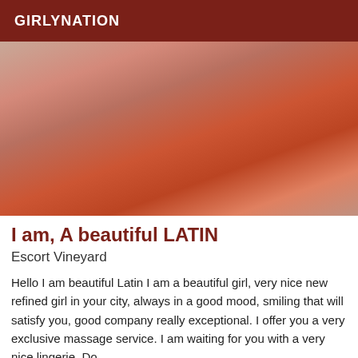GIRLYNATION
[Figure (photo): A person seated on an orange/red office chair, photographed from behind, close-up view of legs and chair seat.]
I am, A beautiful LATIN
Escort Vineyard
Hello I am beautiful Latin I am a beautiful girl, very nice new refined girl in your city, always in a good mood, smiling that will satisfy you, good company really exceptional. I offer you a very exclusive massage service. I am waiting for you with a very nice lingerie. Do